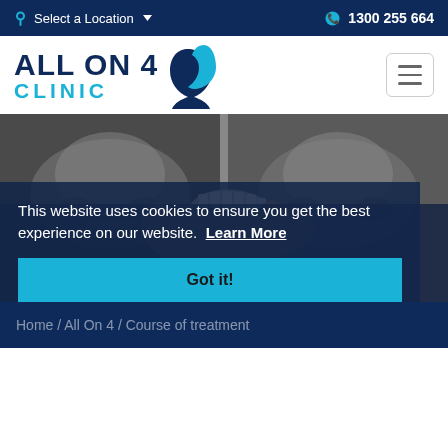Select a Location    1300 255 664
[Figure (logo): All On 4 Clinic logo with blue face silhouette and text ALL ON 4 CLINIC]
[Figure (photo): Hand holding a dental implant prosthesis in front of dental X-ray images on screens]
This website uses cookies to ensure you get the best experience on our website. Learn More
Got it!
Home / All On 4 / Course of treatment